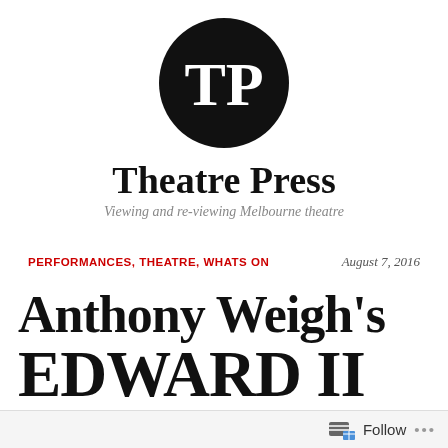[Figure (logo): Theatre Press logo: black circle with white letters TP]
Theatre Press
Viewing and re-viewing Melbourne theatre
PERFORMANCES, THEATRE, WHATS ON — August 7, 2016
Anthony Weigh's EDWARD II